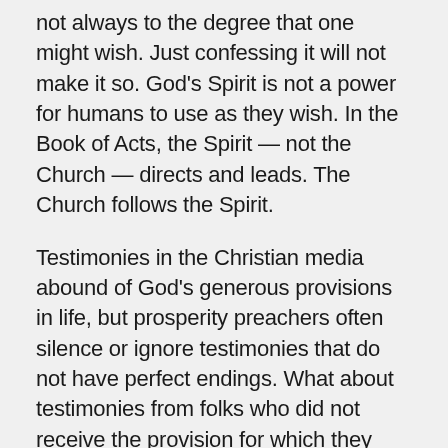not always to the degree that one might wish. Just confessing it will not make it so. God's Spirit is not a power for humans to use as they wish. In the Book of Acts, the Spirit — not the Church — directs and leads. The Church follows the Spirit.
Testimonies in the Christian media abound of God's generous provisions in life, but prosperity preachers often silence or ignore testimonies that do not have perfect endings. What about testimonies from folks who did not receive the provision for which they prayed but still made it through by God's sufficient grace? Are we helping the people of God if these stories never see the light of day? Abundance of blessing cannot always be measured in dollars and cents. We need bread to live, but there is something